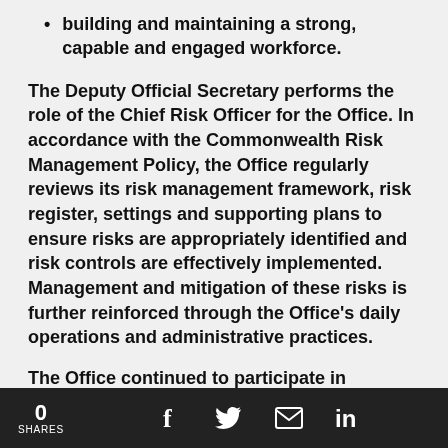building and maintaining a strong, capable and engaged workforce.
The Deputy Official Secretary performs the role of the Chief Risk Officer for the Office. In accordance with the Commonwealth Risk Management Policy, the Office regularly reviews its risk management framework, risk register, settings and supporting plans to ensure risks are appropriately identified and risk controls are effectively implemented. Management and mitigation of these risks is further reinforced through the Office's daily operations and administrative practices.
The Office continued to participate in Comcover's
0 SHARES